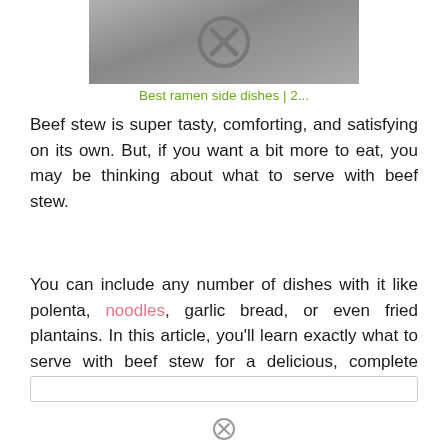[Figure (screenshot): Partial image with close/X button icon on a gray gradient background]
Best ramen side dishes | 2...
Beef stew is super tasty, comforting, and satisfying on its own. But, if you want a bit more to eat, you may be thinking about what to serve with beef stew.
You can include any number of dishes with it like polenta, noodles, garlic bread, or even fried plantains. In this article, you'll learn exactly what to serve with beef stew for a delicious, complete meal!
[Figure (screenshot): Partial content box at bottom with border, and an X icon below]